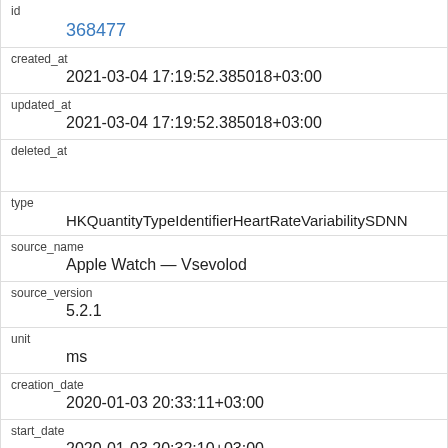| field | value |
| --- | --- |
| id | 368477 |
| created_at | 2021-03-04 17:19:52.385018+03:00 |
| updated_at | 2021-03-04 17:19:52.385018+03:00 |
| deleted_at |  |
| type | HKQuantityTypeIdentifierHeartRateVariabilitySDNN |
| source_name | Apple Watch — Vsevolod |
| source_version | 5.2.1 |
| unit | ms |
| creation_date | 2020-01-03 20:33:11+03:00 |
| start_date | 2020-01-03 20:32:10+03:00 |
| end_date |  |